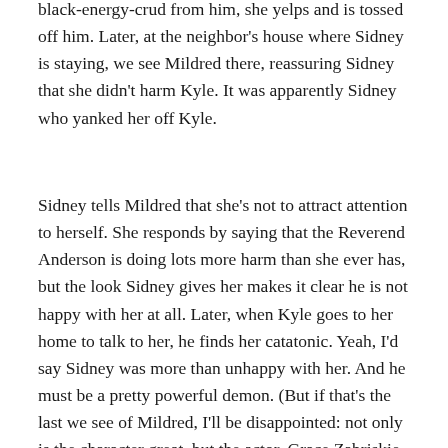black-energy-crud from him, she yelps and is tossed off him. Later, at the neighbor's house where Sidney is staying, we see Mildred there, reassuring Sidney that she didn't harm Kyle. It was apparently Sidney who yanked her off Kyle.
Sidney tells Mildred that she's not to attract attention to herself. She responds by saying that the Reverend Anderson is doing lots more harm than she ever has, but the look Sidney gives her makes it clear he is not happy with her at all. Later, when Kyle goes to her home to talk to her, he finds her catatonic. Yeah, I'd say Sidney was more than unhappy with her. And he must be a pretty powerful demon. (But if that's the last we see of Mildred, I'll be disappointed: not only is the character great, but the actor, Grace Zabriskie, has